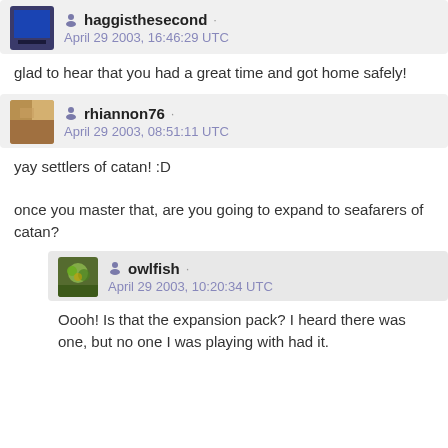haggisthesecond · April 29 2003, 16:46:29 UTC
glad to hear that you had a great time and got home safely!
rhiannon76 · April 29 2003, 08:51:11 UTC
yay settlers of catan! :D
once you master that, are you going to expand to seafarers of catan?
owlfish · April 29 2003, 10:20:34 UTC
Oooh! Is that the expansion pack? I heard there was one, but no one I was playing with had it.